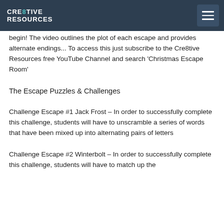CRE8TIVE RESOURCES
begin! The video outlines the plot of each escape and provides alternate endings... To access this just subscribe to the Cre8tive Resources free YouTube Channel and search 'Christmas Escape Room'
The Escape Puzzles & Challenges
Challenge Escape #1 Jack Frost – In order to successfully complete this challenge, students will have to unscramble a series of words that have been mixed up into alternating pairs of letters
Challenge Escape #2 Winterbolt – In order to successfully complete this challenge, students will have to match up the